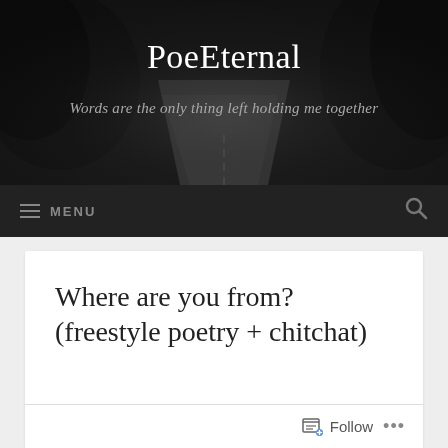[Figure (photo): Dark moody photo of a road disappearing into trees, used as website header background]
PoeEternal
Words are the only thing left holding me together
MENU
Where are you from? (freestyle poetry + chitchat)
Are you a multidimensional being?
Follow